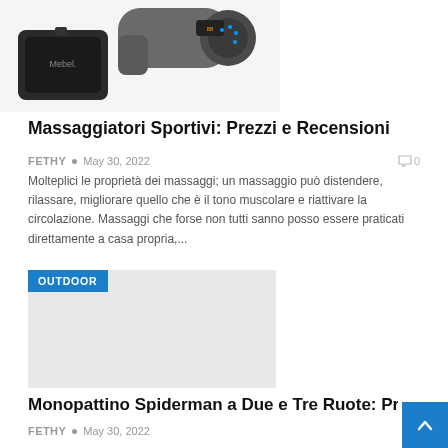[Figure (photo): Product image showing a massage gun device and its carrying case (Mebel brand)]
Massaggiatori Sportivi: Prezzi e Recensioni
FETHY • May 30, 2022   0
Molteplici le proprietà dei massaggi; un massaggio può distendere, rilassare, migliorare quello che è il tono muscolare e riattivare la circolazione. Massaggi che forse non tutti sanno posso essere praticati direttamente a casa propria,...
[Figure (photo): Outdoor category image placeholder with OUTDOOR badge label]
Monopattino Spiderman a Due e Tre Ruote: Prez
FETHY • May 30, 2022